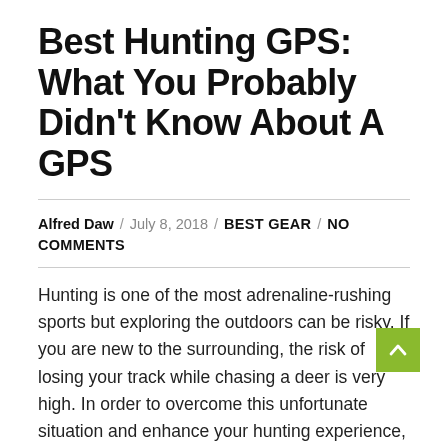Best Hunting GPS: What You Probably Didn't Know About A GPS
Alfred Daw / July 8, 2018 / BEST GEAR / NO COMMENTS
Hunting is one of the most adrenaline-rushing sports but exploring the outdoors can be risky. If you are new to the surrounding, the risk of losing your track while chasing a deer is very high. In order to overcome this unfortunate situation and enhance your hunting experience, the Best Hunting GPS can be very helpful.
Best Hunting Boots: Things to Consider When Buying
Best Hunting Backpack That Will Turn Out To Be Your Best Friend